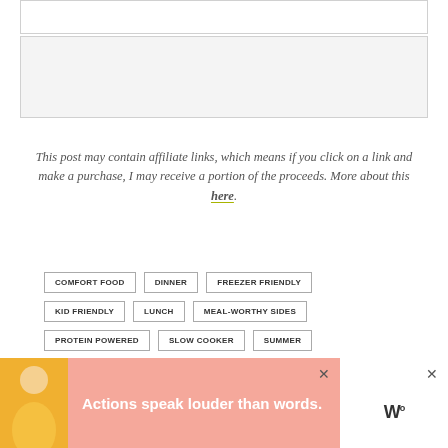[Figure (other): White rectangular box at top, likely placeholder for content]
[Figure (other): Light gray rectangular box below top box, likely placeholder for content]
This post may contain affiliate links, which means if you click on a link and make a purchase, I may receive a portion of the proceeds. More about this here.
COMFORT FOOD
DINNER
FREEZER FRIENDLY
KID FRIENDLY
LUNCH
MEAL-WORTHY SIDES
PROTEIN POWERED
SLOW COOKER
SUMMER
[Figure (other): Advertisement banner: pink background with person figure and text 'Actions speak louder than words.' with close buttons and logo]